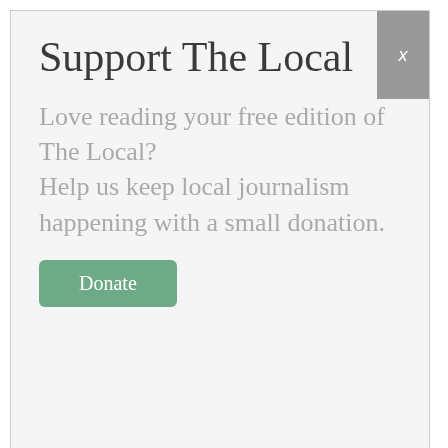Support The Local
Love reading your free edition of The Local?
Help us keep local journalism happening with a small donation.
[Figure (other): Green 'Donate' button]
[Figure (other): Loading spinner (green circular spinner icon)]